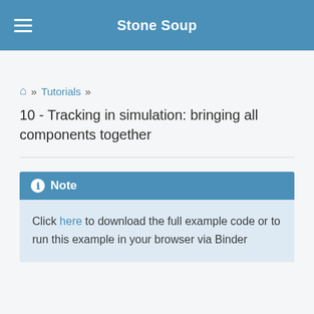Stone Soup
🏠 » Tutorials »
10 - Tracking in simulation: bringing all components together
Note
Click here to download the full example code or to run this example in your browser via Binder